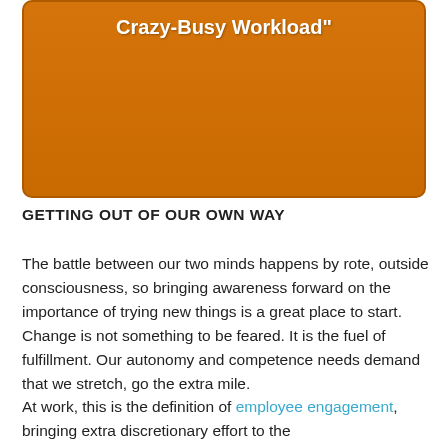[Figure (other): Orange rounded rectangle banner with white bold text reading 'Crazy-Busy Workload"']
GETTING OUT OF OUR OWN WAY
The battle between our two minds happens by rote, outside consciousness, so bringing awareness forward on the importance of trying new things is a great place to start. Change is not something to be feared. It is the fuel of fulfillment. Our autonomy and competence needs demand that we stretch, go the extra mile.
At work, this is the definition of employee engagement, bringing extra discretionary effort to the